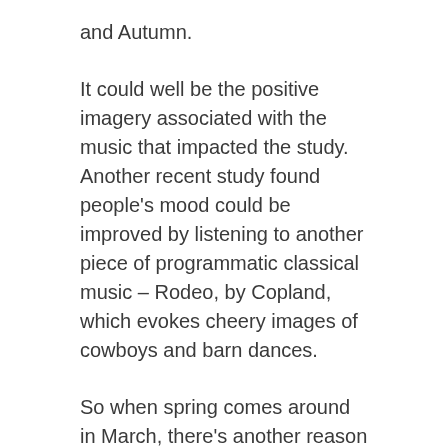and Autumn.
It could well be the positive imagery associated with the music that impacted the study. Another recent study found people's mood could be improved by listening to another piece of programmatic classical music – Rodeo, by Copland, which evokes cheery images of cowboys and barn dances.
So when spring comes around in March, there's another reason to rejoice. Make sure you turn that music up, because Vivaldi's soundtrack to the season makes you smarter.